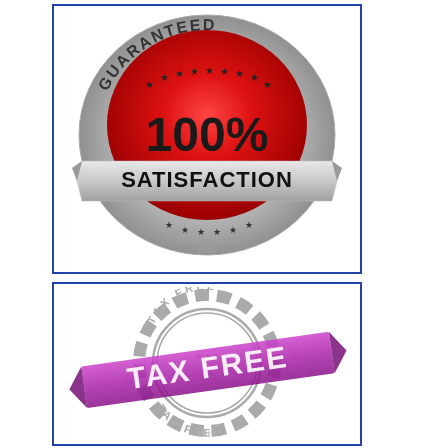[Figure (logo): Guaranteed 100% Satisfaction badge - silver circular badge with red center showing '100%' and 'SATISFACTION' text, with stars, on white background with blue border. eBay watermark visible.]
[Figure (logo): Tax Free stamp/badge - circular gear-shaped stamp in grey with 'TAX FREE' text repeated, with purple/magenta diagonal ribbon banner reading 'TAX FREE'. eBay watermark visible.]